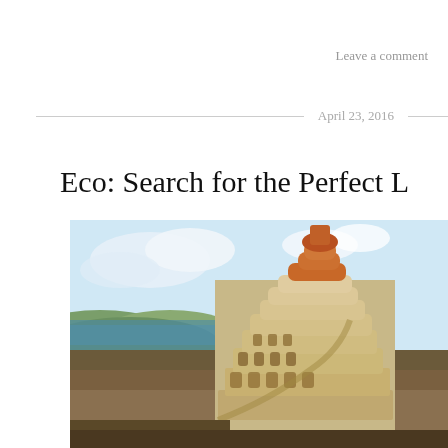Leave a comment
April 23, 2016
Eco: Search for the Perfect L
[Figure (illustration): Painting of the Tower of Babel, a large spiraling stone tower under construction set against a landscape with water and hills in the background, in the style of Pieter Bruegel the Elder.]